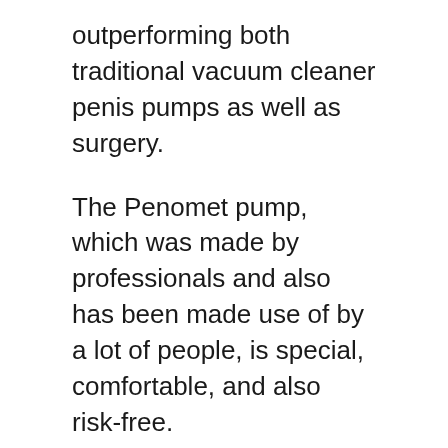outperforming both traditional vacuum cleaner penis pumps as well as surgery.
The Penomet pump, which was made by professionals and also has been made use of by a lot of people, is special, comfortable, and also risk-free.
The pump's success can be credited to its one-of-a-kind style as well as interchangeable gaiters, which enable clients to regulate the pressure that is applied to the penis as well as get the outcomes they prefer.
Even though all it takes is 15 mins a day for a minimum of one month to get approximately 3 inches in size and also a